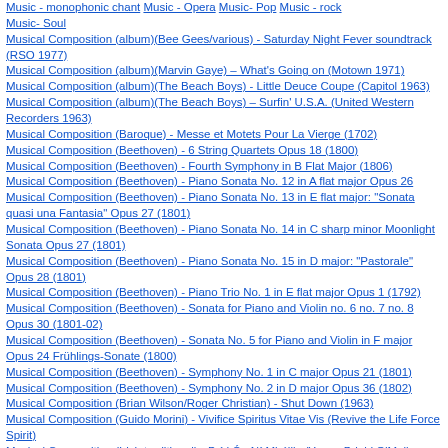Music - monophonic chant  Music - Opera  Music- Pop  Music - rock  Music- Soul
Musical Composition (album)(Bee Gees/various) - Saturday Night Fever soundtrack (RSO 1977)
Musical Composition (album)(Marvin Gaye) – What's Going on (Motown 1971)
Musical Composition (album)(The Beach Boys) - Little Deuce Coupe (Capitol 1963)
Musical Composition (album)(The Beach Boys) – Surfin' U.S.A. (United Western Recorders 1963)
Musical Composition (Baroque) - Messe et Motets Pour La Vierge (1702)
Musical Composition (Beethoven) - 6 String Quartets Opus 18 (1800)
Musical Composition (Beethoven) - Fourth Symphony in B Flat Major (1806)
Musical Composition (Beethoven) - Piano Sonata No. 12 in A flat major Opus 26
Musical Composition (Beethoven) - Piano Sonata No. 13 in E flat major: "Sonata quasi una Fantasia" Opus 27 (1801)
Musical Composition (Beethoven) - Piano Sonata No. 14 in C sharp minor Moonlight Sonata Opus 27 (1801)
Musical Composition (Beethoven) - Piano Sonata No. 15 in D major: "Pastorale" Opus 28 (1801)
Musical Composition (Beethoven) - Piano Trio No. 1 in E flat major Opus 1 (1792)
Musical Composition (Beethoven) - Sonata for Piano and Violin no. 6 no. 7 no. 8 Opus 30 (1801-02)
Musical Composition (Beethoven) - Sonata No. 5 for Piano and Violin in F major Opus 24 Frühlings-Sonate (1800)
Musical Composition (Beethoven) - Symphony No. 1 in C major Opus 21 (1801)
Musical Composition (Beethoven) - Symphony No. 2 in D major Opus 36 (1802)
Musical Composition (Brian Wilson/Roger Christian) - Shut Down (1963)
Musical Composition (Guido Morini) - Vivifice Spiritus Vitae Vis (Revive the Life Force Spirit)
Musical Composition (Irish traditional) - Bríd Óg Ní Mháille /Young Brigid O'Malley